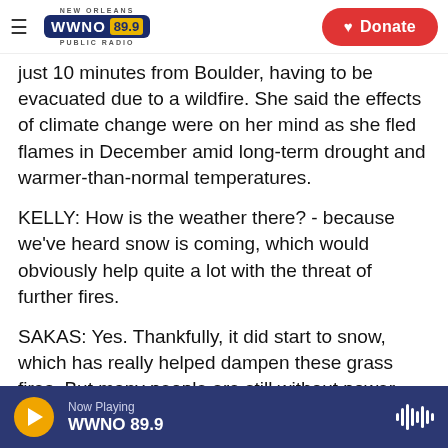NEW ORLEANS WWNO 89.9 PUBLIC RADIO | Donate
just 10 minutes from Boulder, having to be evacuated due to a wildfire. She said the effects of climate change were on her mind as she fled flames in December amid long-term drought and warmer-than-normal temperatures.
KELLY: How is the weather there? - because we've heard snow is coming, which would obviously help quite a lot with the threat of further fires.
SAKAS: Yes. Thankfully, it did start to snow, which has really helped dampen these grass fires. But many people are still without power - you know, around 10,000 people, which might mean a cold
Now Playing WWNO 89.9